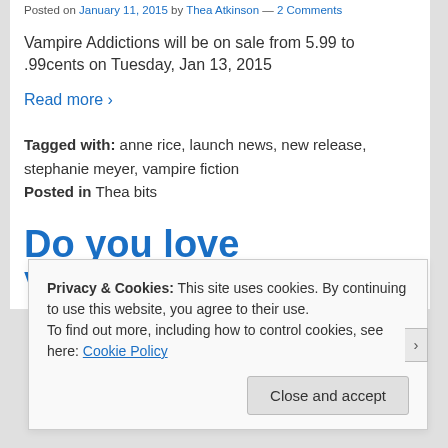Posted on January 11, 2015 by Thea Atkinson — 2 Comments
Vampire Addictions will be on sale from 5.99 to .99cents on Tuesday, Jan 13, 2015
Read more ›
Tagged with: anne rice, launch news, new release, stephanie meyer, vampire fiction
Posted in Thea bits
Do you love Vampire Fiction?
Privacy & Cookies: This site uses cookies. By continuing to use this website, you agree to their use.
To find out more, including how to control cookies, see here: Cookie Policy